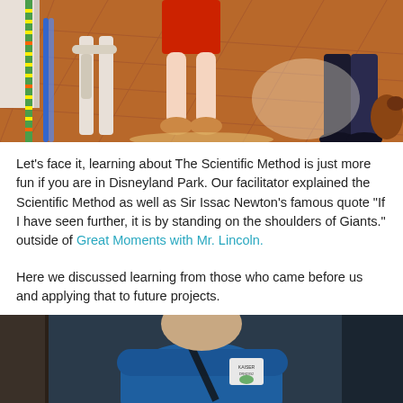[Figure (photo): Photo showing legs of people standing on a red brick tile floor inside what appears to be Disneyland Park. A child in red shorts and sandals is visible near a green height/measuring pole. Adults in dark clothing are also visible.]
Let’s face it, learning about The Scientific Method is just more fun if you are in Disneyland Park.  Our facilitator explained the Scientific Method as well as Sir Issac Newton’s famous quote “If I have seen further, it is by standing on the shoulders of Giants.” outside of Great Moments with Mr. Lincoln.
Here we discussed learning from those who came before us and applying that to future projects.
[Figure (photo): Photo of a person wearing a blue shirt and backpack, with a name badge/sticker visible on the shirt. The setting appears to be indoors at Disneyland Park.]